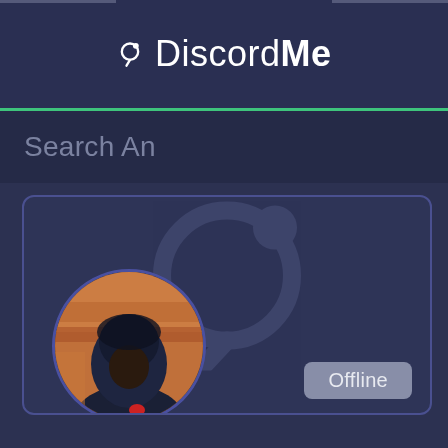[Figure (screenshot): DiscordMe website screenshot showing header logo, search bar, a card with Discord Me watermark logo, a user avatar in a circle, and an Offline status button]
DiscordMe
Search An
Offline